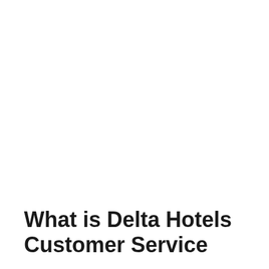What is Delta Hotels Customer Service